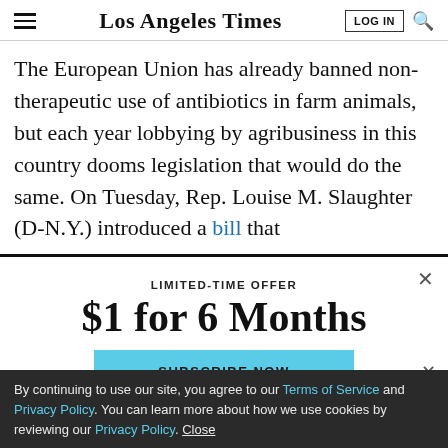Los Angeles Times
The European Union has already banned non-therapeutic use of antibiotics in farm animals, but each year lobbying by agribusiness in this country dooms legislation that would do the same. On Tuesday, Rep. Louise M. Slaughter (D-N.Y.) introduced a bill that
LIMITED-TIME OFFER
$1 for 6 Months
SUBSCRIBE NOW
By continuing to use our site, you agree to our Terms of Service and Privacy Policy. You can learn more about how we use cookies by reviewing our Privacy Policy. Close